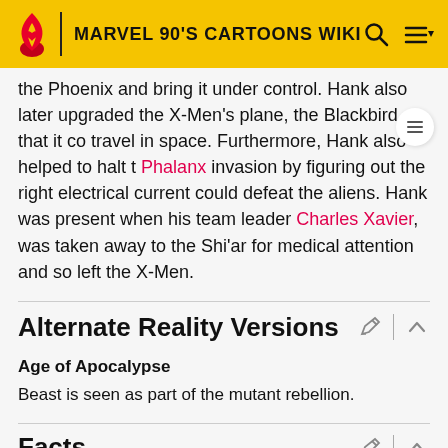MARVEL 90'S CARTOONS WIKI
the Phoenix and bring it under control. Hank also later upgraded the X-Men's plane, the Blackbird, so that it could travel in space. Furthermore, Hank also helped to halt the Phalanx invasion by figuring out the right electrical current could defeat the aliens. Hank was present when his team leader Charles Xavier, was taken away to the Shi'ar for medical attention and so left the X-Men.
Alternate Reality Versions
Age of Apocalypse
Beast is seen as part of the mutant rebellion.
Facts